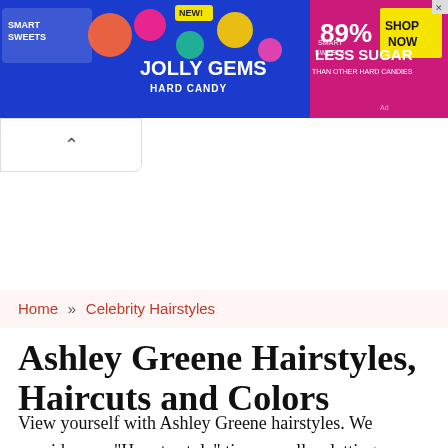[Figure (illustration): Advertisement banner for Smart Sweets Jolly Gems Hard Candy. Blue background with colorful candy graphics, text reading 'NEW! JOLLY GEMS Hard Candy', 'SMART SWEETS', '89% LESS SUGAR THAN OTHER HARD CANDIES', and a yellow 'SHOP NOW' button.]
^
Home » Celebrity Hairstyles
Ashley Greene Hairstyles, Haircuts and Colors
View yourself with Ashley Greene hairstyles. We provide easy "How to style" tips as well as letting you know which hairstyles will match your face shape, hair texture and hair density.